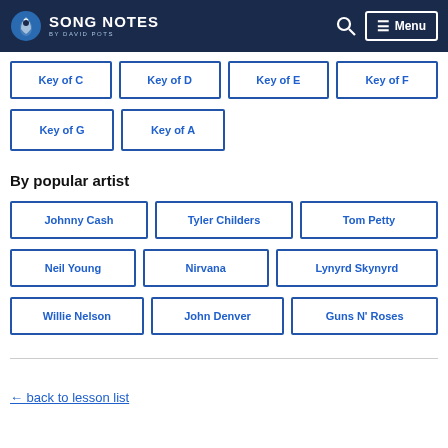SONG NOTES by David Pots
Key of C
Key of D
Key of E
Key of F
Key of G
Key of A
By popular artist
Johnny Cash
Tyler Childers
Tom Petty
Neil Young
Nirvana
Lynyrd Skynyrd
Willie Nelson
John Denver
Guns N' Roses
← back to lesson list